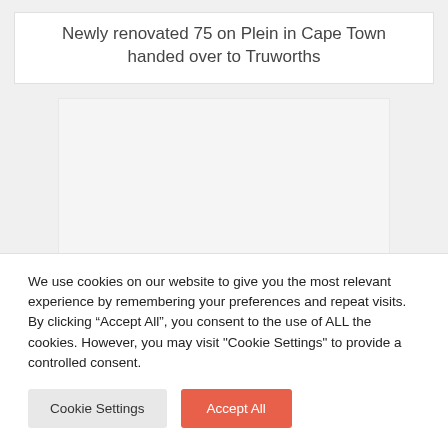Newly renovated 75 on Plein in Cape Town handed over to Truworths
[Figure (photo): Placeholder image area, light grey background, no visible content]
We use cookies on our website to give you the most relevant experience by remembering your preferences and repeat visits. By clicking “Accept All”, you consent to the use of ALL the cookies. However, you may visit "Cookie Settings" to provide a controlled consent.